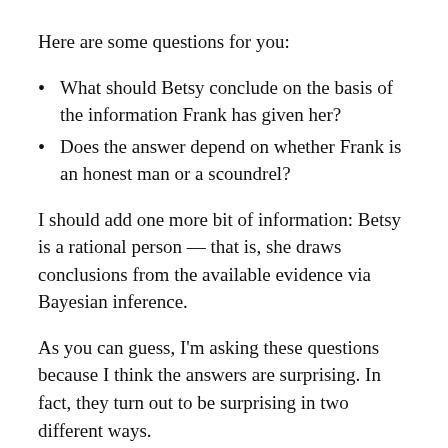Here are some questions for you:
What should Betsy conclude on the basis of the information Frank has given her?
Does the answer depend on whether Frank is an honest man or a scoundrel?
I should add one more bit of information: Betsy is a rational person — that is, she draws conclusions from the available evidence via Bayesian inference.
As you can guess, I'm asking these questions because I think the answers are surprising. In fact, they turn out to be surprising in two different ways.
There's one thing we can say immediately: if Frank is a scoundrel, then the 1% significance figure is meaningless. It turns out that, if you start with a fair